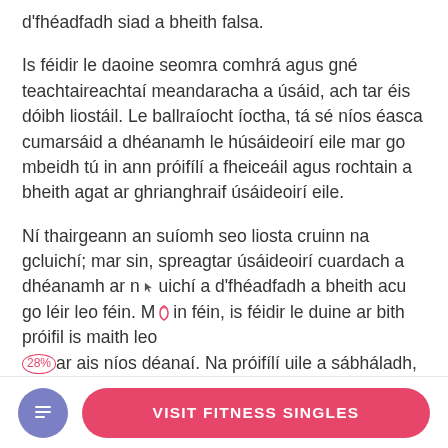d'fhéadfadh siad a bheith falsa.
Is féidir le daoine seomra comhrá agus gné teachtaireachtaí meandaracha a úsáid, ach tar éis dóibh liostáil. Le ballraíocht íoctha, tá sé níos éasca cumarsáid a dhéanamh le húsáideoirí eile mar go mbeidh tú in ann próifílí a fheiceáil agus rochtain a bheith agat ar ghrianghraif úsáideoirí eile.
Ní thairgeann an suíomh seo liosta cruinn na gcluichí; mar sin, spreagtar úsáideoirí cuardach a dhéanamh ar na gcluichí a d'fhéadfadh a bheith acu go léir leo féin. Murab sin féin, is féidir le duine ar bith próifil is maith leo a shábháil ar ais níos déanaí. Na próifílí uile a sábháladh, is féidir leat a fháil i bPróifílí a Shábháil mé faoin rannán
[Figure (other): Bottom navigation bar with a purple circular icon button (document/list icon) and a pink rounded rectangle button labeled VISIT FITNESS SINGLES]